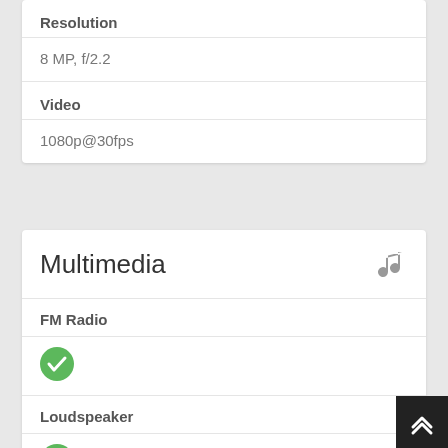| Resolution |  |
| 8 MP, f/2.2 |  |
| Video |  |
| 1080p@30fps |  |
Multimedia
| FM Radio |  |
| --- | --- |
| ✓ |  |
| Loudspeaker |  |
| ✓ |  |
| Alert Types |  |